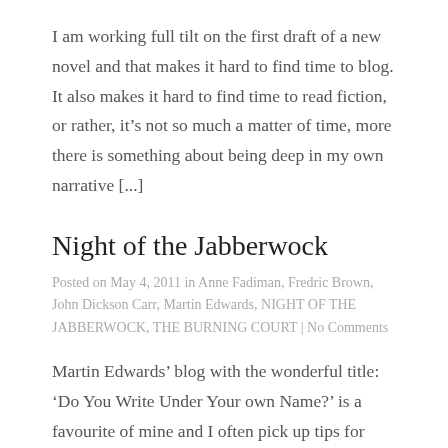I am working full tilt on the first draft of a new novel and that makes it hard to find time to blog. It also makes it hard to find time to read fiction, or rather, it's not so much a matter of time, more there is something about being deep in my own narrative [...]
Night of the Jabberwock
Posted on May 4, 2011 in Anne Fadiman, Fredric Brown, John Dickson Carr, Martin Edwards, NIGHT OF THE JABBERWOCK, THE BURNING COURT | No Comments
Martin Edwards' blog with the wonderful title: 'Do You Write Under Your own Name?' is a favourite of mine and I often pick up tips for books I might enjoy, especially in his forgotten books section.